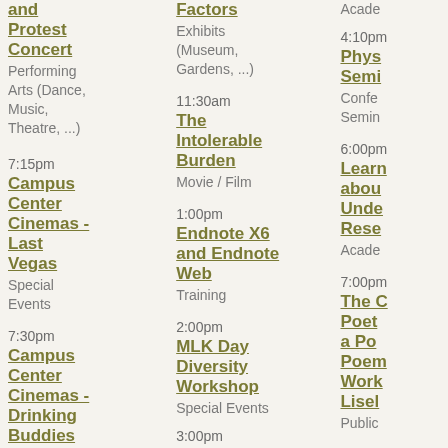and Protest Concert - Performing Arts (Dance, Music, Theatre, ...)
7:15pm - Campus Center Cinemas - Last Vegas - Special Events
7:30pm - Campus Center Cinemas - Drinking Buddies - Special
Factors - Exhibits (Museum, Gardens, ...)
11:30am - The Intolerable Burden - Movie / Film
1:00pm - Endnote X6 and Endnote Web - Training
2:00pm - MLK Day Diversity Workshop - Special Events
3:00pm
4:10pm - Phys Semi - Conference Seminar
6:00pm - Learn about Unde Rese - Academic
7:00pm - The C Poet a Po Poem Work Lisel - Public